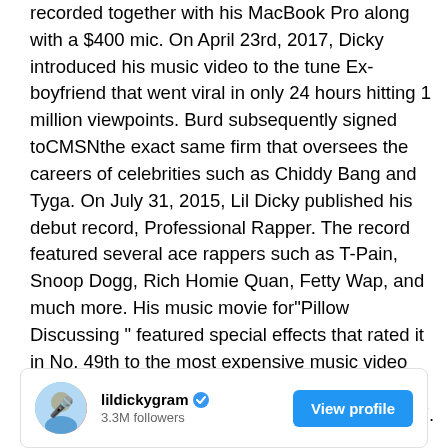recorded together with his MacBook Pro along with a $400 mic. On April 23rd, 2017, Dicky introduced his music video to the tune Ex-boyfriend that went viral in only 24 hours hitting 1 million viewpoints. Burd subsequently signed toCMSNthe exact same firm that oversees the careers of celebrities such as Chiddy Bang and Tyga. On July 31, 2015, Lil Dicky published his debut record, Professional Rapper. The record featured several ace rappers such as T-Pain, Snoop Dogg, Rich Homie Quan, Fetty Wap, and much more. His music movie for"Pillow Discussing " featured special effects that rated it in No. 49th to the most expensive music video ever made. His next EP “that I ’m Brain” beneath his alter ego Brain premiered in September 2017.
[Figure (other): Instagram profile card for lildickygram with verified badge, 3.3M followers, and a View profile button]